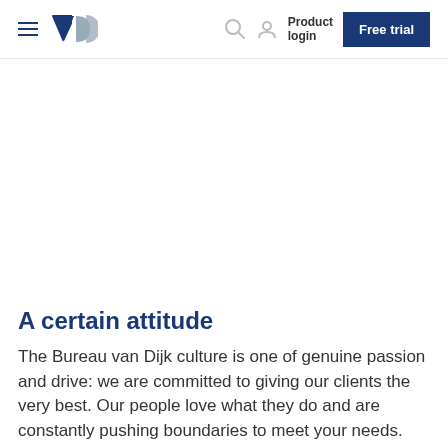Bureau van Dijk navigation bar with logo, search, product login, and free trial button
A certain attitude
The Bureau van Dijk culture is one of genuine passion and drive: we are committed to giving our clients the very best. Our people love what they do and are constantly pushing boundaries to meet your needs. We have a certain